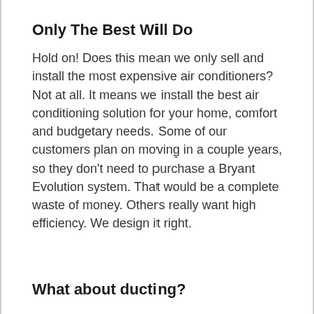Only The Best Will Do
Hold on! Does this mean we only sell and install the most expensive air conditioners? Not at all. It means we install the best air conditioning solution for your home, comfort and budgetary needs. Some of our customers plan on moving in a couple years, so they don’t need to purchase a Bryant Evolution system. That would be a complete waste of money. Others really want high efficiency. We design it right.
What about ducting?